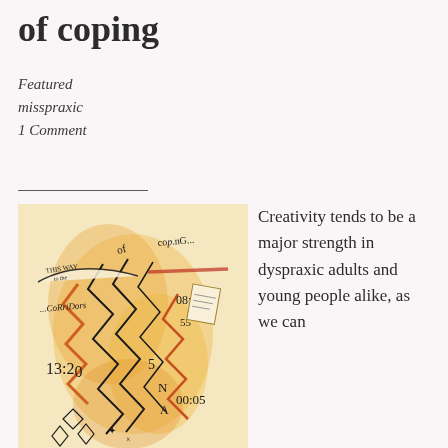of coping
Featured
misspraxic
1 Comment
[Figure (illustration): A hand-drawn artwork featuring chaotic text and numbers including 'THIS WAY to the', 'CoRriDors', '...of coping...', '13:20', '5', '08:5', '55', '00:05', with zigzag lightning bolt patterns, orange/yellow wash background, scattered geometric shapes like diamonds, and energetic scrawled lettering in black ink.]
Creativity tends to be a major strength in dyspraxic adults and young people alike, as we can